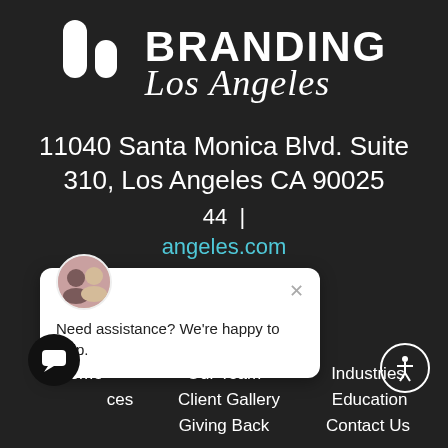[Figure (logo): Branding Los Angeles logo: white bar chart icon on dark background, with BRANDING in bold white uppercase and 'Los Angeles' in white cursive/script below]
11040 Santa Monica Blvd. Suite 310, Los Angeles CA 90025
44 |
angeles.com
[Figure (screenshot): Chat popup overlay with two-person avatar photo, X close button, and text: Need assistance? We're happy to help.]
Home
Our Team
Industries
ces
Client Gallery
Education
Giving Back
Contact Us